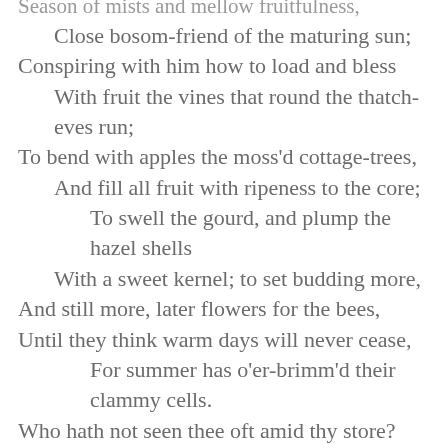Season of mists and mellow fruitfulness,
   Close bosom-friend of the maturing sun;
Conspiring with him how to load and bless
   With fruit the vines that round the thatch-eves run;
To bend with apples the moss'd cottage-trees,
   And fill all fruit with ripeness to the core;
      To swell the gourd, and plump the hazel shells
   With a sweet kernel; to set budding more,
And still more, later flowers for the bees,
Until they think warm days will never cease,
      For summer has o'er-brimm'd their clammy cells.
Who hath not seen thee oft amid thy store?
   Sometimes whoever seeks abroad may find
Thee sitting careless on a granary floor,